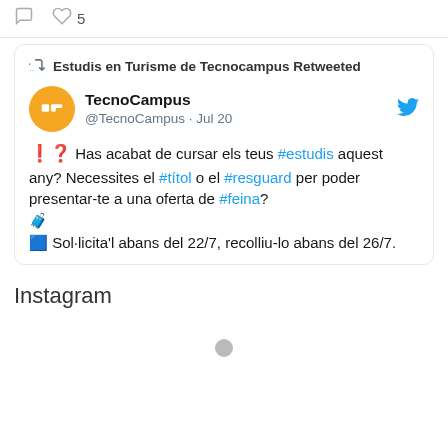[Figure (screenshot): Twitter/social media post showing retweet from 'Estudis en Turisme de Tecnocampus Retweeted', with TecnoCampus account (@TecnoCampus, Jul 20) posting in Catalan about needing #estudis, #títol, #resguard, #feina, with briefcase emoji and blue #1 emoji. Below is an 'Instagram' section header with a gray dot.]